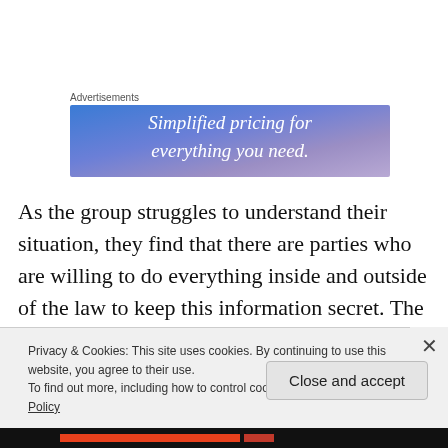Advertisements
[Figure (illustration): Advertisement banner with blue-to-purple gradient background and white italic text: 'Simplified pricing for everything you need.']
As the group struggles to understand their situation, they find that there are parties who are willing to do everything inside and outside of the law to keep this information secret. The group finds themselves drawn into a situation
Privacy & Cookies: This site uses cookies. By continuing to use this website, you agree to their use.
To find out more, including how to control cookies, see here: Cookie Policy
Close and accept